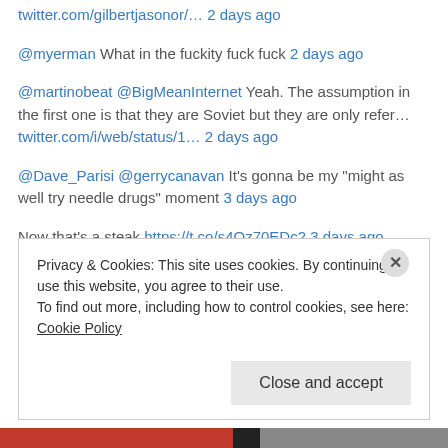twitter.com/gilbertjasonor/… 2 days ago
@myerman What in the fuckity fuck fuck 2 days ago
@martinobeat @BigMeanInternet Yeah. The assumption in the first one is that they are Soviet but they are only refer… twitter.com/i/web/status/1… 2 days ago
@Dave_Parisi @gerrycanavan It's gonna be my "might as well try needle drugs" moment 3 days ago
Now that's a steak https://t.co/s4Oz70EDc2 3 days ago
Privacy & Cookies: This site uses cookies. By continuing to use this website, you agree to their use. To find out more, including how to control cookies, see here: Cookie Policy
Close and accept